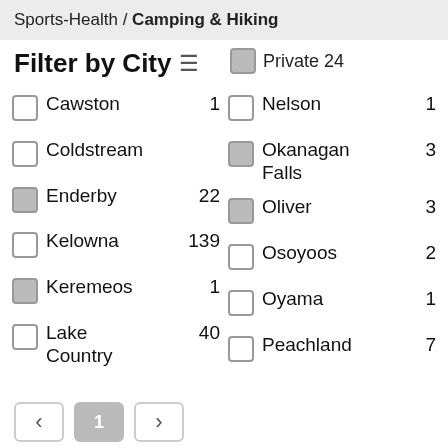Sports-Health / Camping & Hiking
Filter by City
Private 24
Cawston 1
Nelson 1
Coldstream
Okanagan Falls 3
Enderby 22
Oliver 3
Kelowna 139
Osoyoos 2
Keremeos 1
Oyama 1
Lake Country 40
Peachland 7